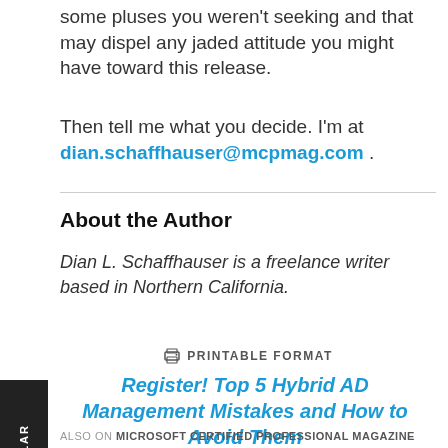some pluses you weren't seeking and that may dispel any jaded attitude you might have toward this release.
Then tell me what you decide. I'm at dian.schaffhauser@mcpmag.com .
About the Author
Dian L. Schaffhauser is a freelance writer based in Northern California.
🖨 PRINTABLE FORMAT
Register! Top 5 Hybrid AD Management Mistakes and How to Avoid Them
ALSO ON MICROSOFT CERTIFIED PROFESSIONAL MAGAZINE